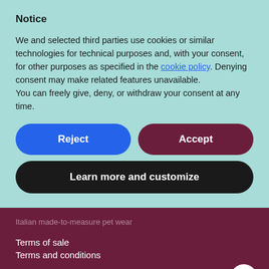Notice
We and selected third parties use cookies or similar technologies for technical purposes and, with your consent, for other purposes as specified in the cookie policy. Denying consent may make related features unavailable.
You can freely give, deny, or withdraw your consent at any time.
[Figure (other): Two buttons side by side: blue 'Reject' button and dark red 'Accept' button, plus a black 'Learn more and customize' button below]
Italian made-to-measure pet wear
Terms of sale
Terms and conditions
Credits